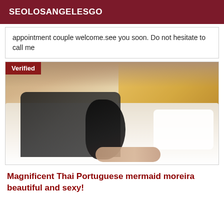SEOLOSANGELESGO
appointment couple welcome.see you soon. Do not hesitate to call me
[Figure (photo): Woman posing on a bed, with a Verified badge overlay in the top-left corner]
Magnificent Thai Portuguese mermaid moreira beautiful and sexy!